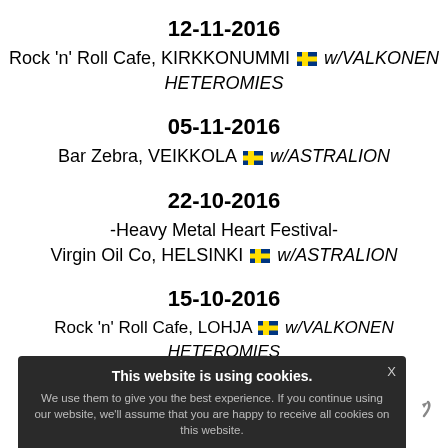12-11-2016
Rock 'n' Roll Cafe, KIRKKONUMMI [flag] w/VALKONEN HETEROMIES
05-11-2016
Bar Zebra, VEIKKOLA [flag] w/ASTRALION
22-10-2016
-Heavy Metal Heart Festival-
Virgin Oil Co, HELSINKI [flag] w/ASTRALION
15-10-2016
Rock 'n' Roll Cafe, LOHJA [flag] w/VALKONEN HETEROMIES
w/ASTRALION (partially obscured)
16-09-2016
Bar Bakkari, HELSINKI [flag] w/ASTRALION
This website is using cookies. We use them to give you the best experience. If you continue using our website, we'll assume that you are happy to receive all cookies on this website.